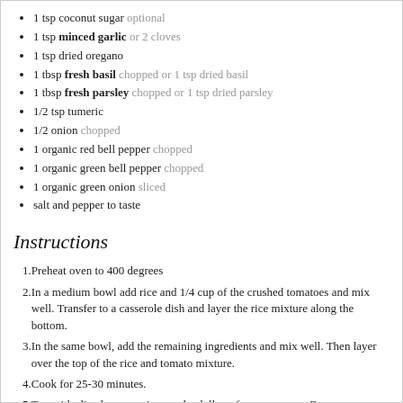1 tsp coconut sugar optional
1 tsp minced garlic or 2 cloves
1 tsp dried oregano
1 tbsp fresh basil chopped or 1 tsp dried basil
1 tbsp fresh parsley chopped or 1 tsp dried parsley
1/2 tsp tumeric
1/2 onion chopped
1 organic red bell pepper chopped
1 organic green bell pepper chopped
1 organic green onion sliced
salt and pepper to taste
Instructions
Preheat oven to 400 degrees
In a medium bowl add rice and 1/4 cup of the crushed tomatoes and mix well. Transfer to a casserole dish and layer the rice mixture along the bottom.
In the same bowl, add the remaining ingredients and mix well. Then layer over the top of the rice and tomato mixture.
Cook for 25-30 minutes.
Top with sliced green onions and a dollop of sour cream or Forager Unsweetened Cashew Yogurt !